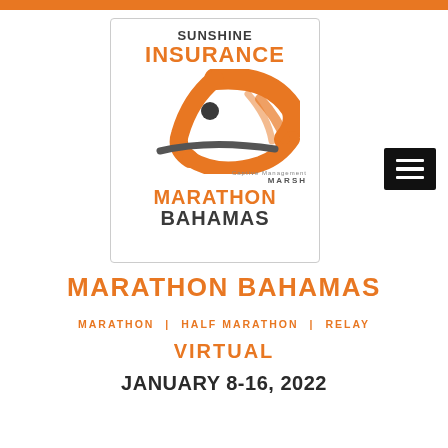[Figure (logo): Sunshine Insurance Marathon Bahamas logo with orange sun/runner graphic and Marsh Captive Management sponsor text, inside a white bordered rectangle]
MARATHON BAHAMAS
MARATHON | HALF MARATHON | RELAY
VIRTUAL
JANUARY 8-16, 2022